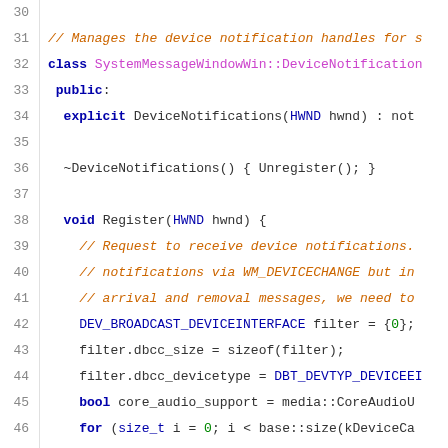[Figure (screenshot): C++ source code listing showing lines 30-51 of a file. The code defines a DeviceNotifications class inside SystemMessageWindowWin with methods including constructor, destructor (Unregister), and Register function that sets up device notifications via WM_DEVICECHANGE. Line numbers appear in gray on the left. Comments are in orange/brown, keywords in blue/purple, regular code in dark text.]